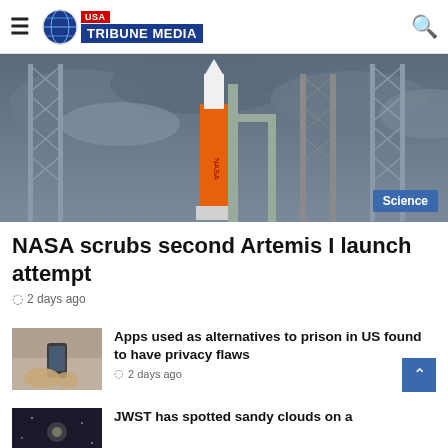USA Tribune Media
[Figure (photo): NASA SLS rocket on launch pad with tall lattice towers on either side, stormy sky background. Science category badge in bottom right.]
NASA scrubs second Artemis I launch attempt
2 days ago
[Figure (photo): Person holding a smartphone, close-up shot.]
Apps used as alternatives to prison in US found to have privacy flaws
2 days ago
[Figure (photo): Dark image, possibly space or night sky scene related to JWST.]
JWST has spotted sandy clouds on a